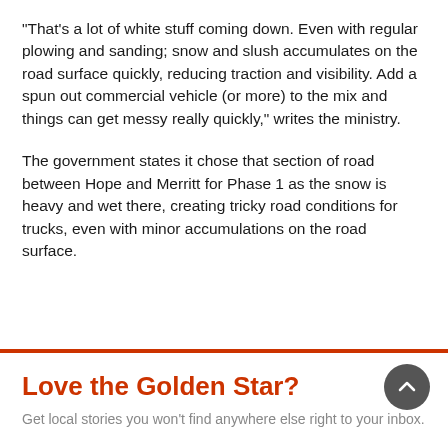“That’s a lot of white stuff coming down. Even with regular plowing and sanding; snow and slush accumulates on the road surface quickly, reducing traction and visibility. Add a spun out commercial vehicle (or more) to the mix and things can get messy really quickly,” writes the ministry.
The government states it chose that section of road between Hope and Merritt for Phase 1 as the snow is heavy and wet there, creating tricky road conditions for trucks, even with minor accumulations on the road surface.
Love the Golden Star?
Get local stories you won’t find anywhere else right to your inbox.